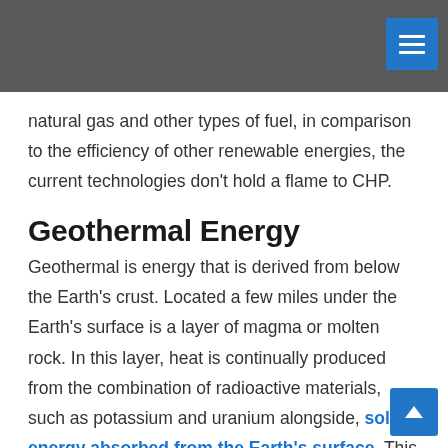natural gas and other types of fuel, in comparison to the efficiency of other renewable energies, the current technologies don't hold a flame to CHP.
Geothermal Energy
Geothermal is energy that is derived from below the Earth's crust. Located a few miles under the Earth's surface is a layer of magma or molten rock. In this layer, heat is continually produced from the combination of radioactive materials, such as potassium and uranium alongside, solar energy absorbed from the Earth's surface. This heat